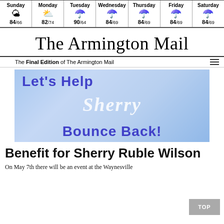| Sunday | Monday | Tuesday | Wednesday | Thursday | Friday | Saturday |
| --- | --- | --- | --- | --- | --- | --- |
| ☀ | ☀ | ☂ | ☂ | ☂ | ☂ | ☂ |
| 84/66 | 82/74 | 90/64 | 84/69 | 84/69 | 84/69 | 84/69 |
The Armington Mail
The Final Edition of The Armington Mail
[Figure (photo): Promotional graphic with blue background and text: Let's Help Sherry Bounce Back!]
Benefit for Sherry Ruble Wilson
On May 7th there will be an event at the Waynesville